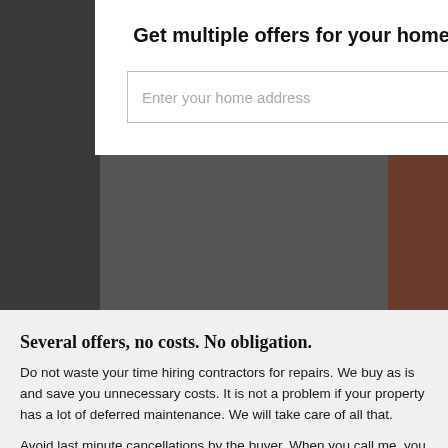Get multiple offers for your home from our cash buyers within 24 hours for free
[Figure (screenshot): Web page form with an address input field and a blue SUBMIT button]
Several offers, no costs. No obligation.
Do not waste your time hiring contractors for repairs. We buy as is and save you unnecessary costs. It is not a problem if your property has a lot of deferred maintenance. We will take care of all that.
Avoid last minute cancellations by the buyer. When you call me, you know you will receive a cash offer quickly and you can be sure it will close the deal.